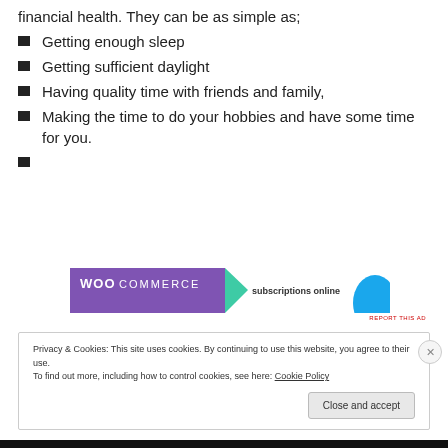financial health. They can be as simple as;
Getting enough sleep
Getting sufficient daylight
Having quality time with friends and family,
Making the time to do your hobbies and have some time for you.
[Figure (screenshot): WooCommerce advertisement banner with purple background showing 'WooCommerce' text, green arrow, and 'subscriptions online' text with blue arc graphic]
REPORT THIS AD
Privacy & Cookies: This site uses cookies. By continuing to use this website, you agree to their use.
To find out more, including how to control cookies, see here: Cookie Policy
Close and accept